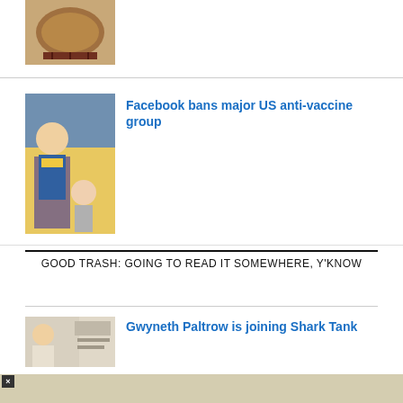[Figure (photo): Thumbnail of food in a pan on a stove]
[Figure (photo): Child receiving a vaccine injection from a masked adult]
Facebook bans major US anti-vaccine group
GOOD TRASH: GOING TO READ IT SOMEWHERE, Y'KNOW
[Figure (photo): Thumbnail of Gwyneth Paltrow]
Gwyneth Paltrow is joining Shark Tank